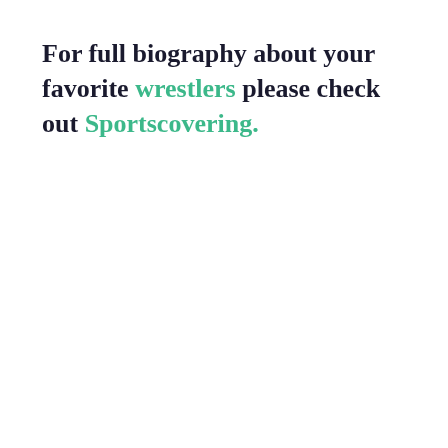For full biography about your favorite wrestlers please check out Sportscovering.